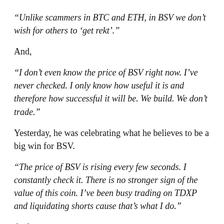“Unlike scammers in BTC and ETH, in BSV we don’t wish for others to ‘get rekt’.”
And,
“I don’t even know the price of BSV right now. I’ve never checked. I only know how useful it is and therefore how successful it will be. We build. We don’t trade.”
Yesterday, he was celebrating what he believes to be a big win for BSV.
“The price of BSV is rising every few seconds. I constantly check it. There is no stronger sign of the value of this coin. I’ve been busy trading on TDXP and liquidating shorts cause that’s what I do.”
And,